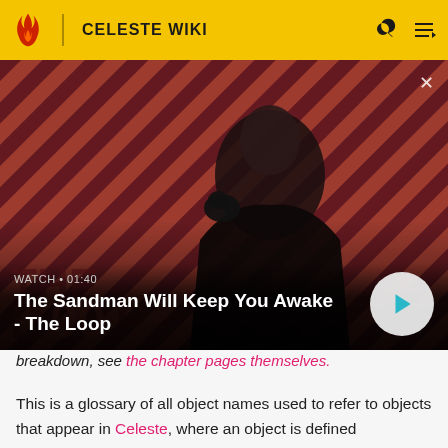CELESTE WIKI
[Figure (screenshot): Video thumbnail showing a man in dark clothing with a black bird/raven on his shoulder, against a red and dark diagonal striped background. Text overlay reads 'WATCH • 01:40' and 'The Sandman Will Keep You Awake - The Loop' with a play button on the right.]
breakdown, see the chapter pages themselves.
This is a glossary of all object names used to refer to objects that appear in Celeste, where an object is defined